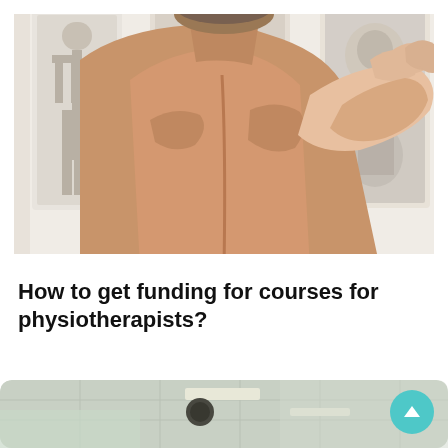[Figure (photo): A male patient viewed from behind, shirtless, with a clinician's hand pressing on his upper back/shoulder area. In the background are anatomical posters on a white wall showing skeleton and muscle diagrams.]
How to get funding for courses for physiotherapists?
[Figure (photo): A physiotherapy clinic interior with tiled ceiling, fluorescent lights, and light-green walls, partially visible at the bottom of the page.]